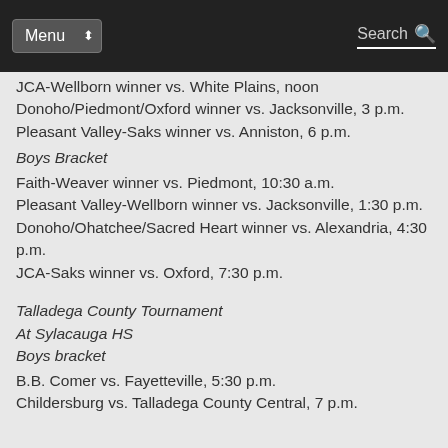Menu  Search
JCA-Wellborn winner vs. White Plains, noon
Donoho/Piedmont/Oxford winner vs. Jacksonville, 3 p.m.
Pleasant Valley-Saks winner vs. Anniston, 6 p.m.
Boys Bracket
Faith-Weaver winner vs. Piedmont, 10:30 a.m.
Pleasant Valley-Wellborn winner vs. Jacksonville, 1:30 p.m.
Donoho/Ohatchee/Sacred Heart winner vs. Alexandria, 4:30 p.m.
JCA-Saks winner vs. Oxford, 7:30 p.m.
Talladega County Tournament
At Sylacauga HS
Boys bracket
B.B. Comer vs. Fayetteville, 5:30 p.m.
Childersburg vs. Talladega County Central, 7 p.m.